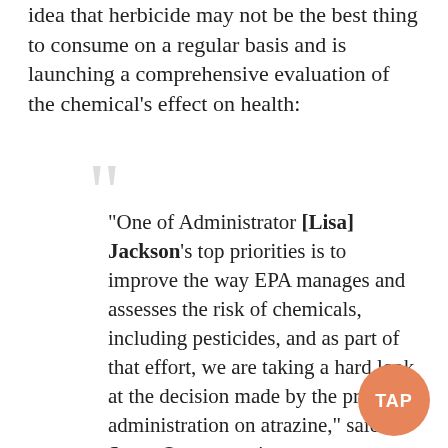idea that herbicide may not be the best thing to consume on a regular basis and is launching a comprehensive evaluation of the chemical's effect on health:
“One of Administrator [Lisa] Jackson’s top priorities is to improve the way EPA manages and assesses the risk of chemicals, including pesticides, and as part of that effort, we are taking a hard look at the decision made by the previous administration on atrazine,” said Steve Owens, assistant administrator for EPA’s Office of Prevention, Pesticides and Toxic Substances. “Our examination of atrazine will be based on transparency and sound science, including independent scientific peer review, and will help determine whether a change in EPA’s regulatory
[Figure (logo): TAP circular orange logo badge]